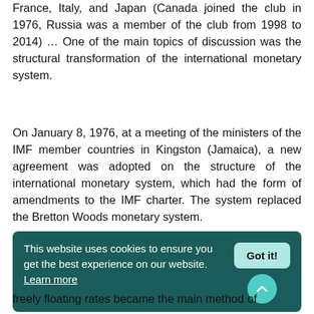France, Italy, and Japan (Canada joined the club in 1976, Russia was a member of the club from 1998 to 2014) … One of the main topics of discussion was the structural transformation of the international monetary system.
On January 8, 1976, at a meeting of the ministers of the IMF member countries in Kingston (Jamaica), a new agreement was adopted on the structure of the international monetary system, which had the form of amendments to the IMF charter. The system replaced the Bretton Woods monetary system.
This website uses cookies to ensure you get the best experience on our website. Learn more  Got it!
freely floating rates became the main method of